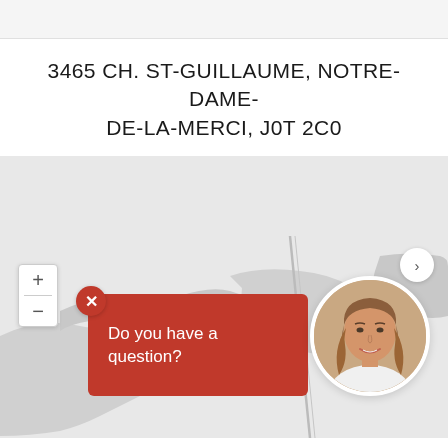3465 CH. ST-GUILLAUME, NOTRE-DAME-DE-LA-MERCI, J0T 2C0
[Figure (map): Interactive map showing the location of the property with zoom controls, a navigation arrow, a red chat popup saying 'Do you have a question?', and a circular photo of a female real estate agent.]